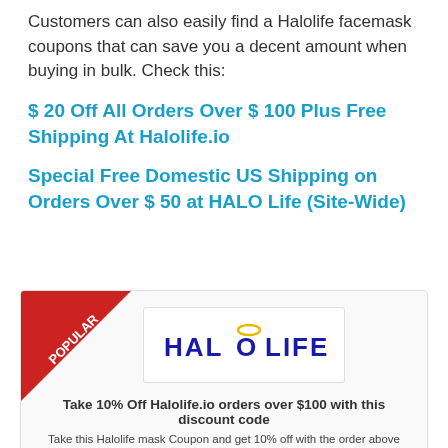Customers can also easily find a Halolife facemask coupons that can save you a decent amount when buying in bulk. Check this:
$ 20 Off All Orders Over $ 100 Plus Free Shipping At Halolife.io
Special Free Domestic US Shipping on Orders Over $ 50 at HALO Life (Site-Wide)
[Figure (other): Halolife coupon card with POPULAR ribbon, Halolife logo, and coupon description text]
Take 10% Off Halolife.io orders over $100 with this discount code
Take this Halolife mask Coupon and get 10% off with the order above $100. Make sure you place the coupon code in the check-out Show More